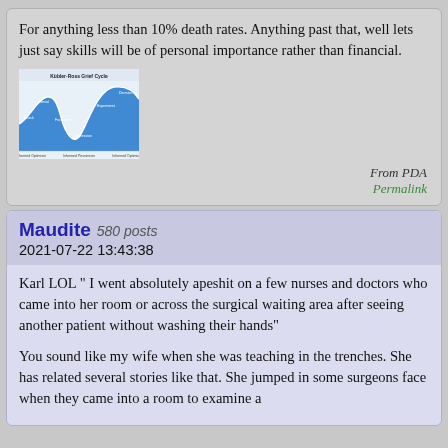For anything less than 10% death rates. Anything past that, well lets just say skills will be of personal importance rather than financial.
[Figure (other): Kübler-Ross Grief Cycle diagram showing a wave-shaped curve with blue background, labeled stages of grief along the curve.]
From PDA
Permalink
Maudite 580 posts
2021-07-22 13:43:38
Karl LOL " I went absolutely apeshit on a few nurses and doctors who came into her room or across the surgical waiting area after seeing another patient without washing their hands"
You sound like my wife when she was teaching in the trenches. She has related several stories like that. She jumped in some surgeons face when they came into a room to examine a